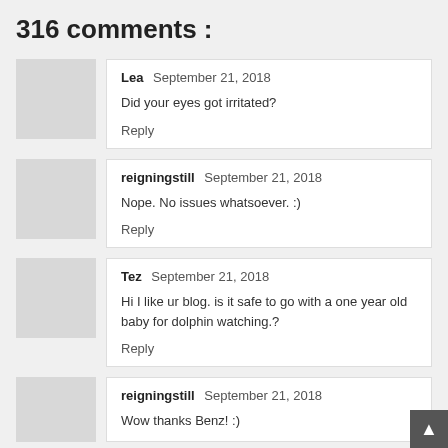316 comments :
Lea  September 21, 2018
Did your eyes got irritated?
Reply
reigningstill  September 21, 2018
Nope. No issues whatsoever. :)
Reply
Tez  September 21, 2018
Hi I like ur blog. is it safe to go with a one year old baby for dolphin watching.?
Reply
reigningstill  September 21, 2018
Wow thanks Benz! :)